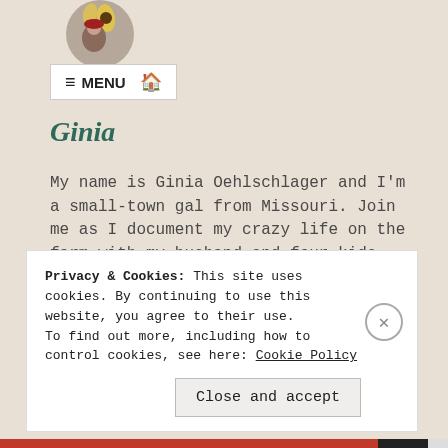[Figure (photo): Circular profile photo showing a person with a sunflower, partially cropped at top]
≡ MENU 🏠
Ginia
My name is Ginia Oehlschlager and I'm a small-town gal from Missouri. Join me as I document my crazy life on the farm with my husband and four kids. I'm always looking for frugal, simple ways to live the life God set before me. Where faith, family and fun come together on the farm.
Privacy & Cookies: This site uses cookies. By continuing to use this website, you agree to their use.
To find out more, including how to control cookies, see here: Cookie Policy
Close and accept